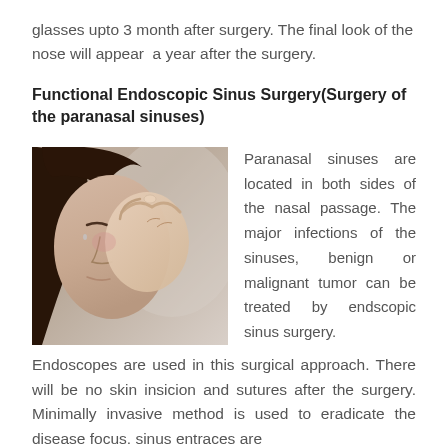glasses upto 3 month after surgery. The final look of the nose will appear  a year after the surgery.
Functional Endoscopic Sinus Surgery(Surgery of the paranasal sinuses)
[Figure (photo): A woman holding her nose/face in apparent sinus pain, black and white / muted tone photo.]
Paranasal sinuses are located in both sides of the nasal passage. The major infections of the sinuses, benign or malignant tumor can be treated by endscopic sinus surgery. Endoscopes are used in this surgical approach. There will be no skin insicion and sutures after the surgery. Minimally invasive method is used to eradicate the disease focus. sinus entraces are